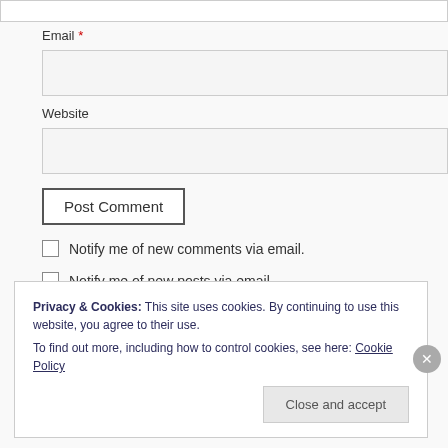[Figure (screenshot): Top partial input field bar visible at very top of page]
Email *
[Figure (screenshot): Email input text field (empty)]
Website
[Figure (screenshot): Website input text field (empty)]
Post Comment
Notify me of new comments via email.
Notify me of new posts via email.
Privacy & Cookies: This site uses cookies. By continuing to use this website, you agree to their use.
To find out more, including how to control cookies, see here: Cookie Policy
Close and accept